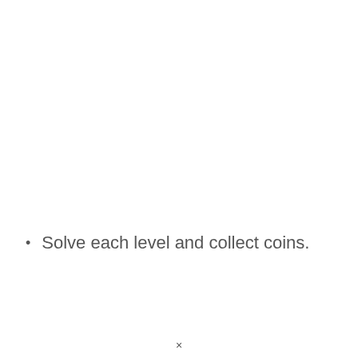Solve each level and collect coins.
×